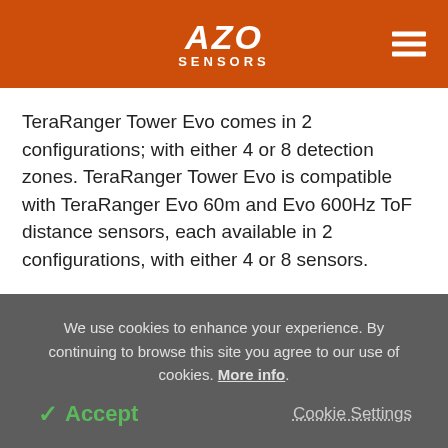AZO SENSORS
TeraRanger Tower Evo comes in 2 configurations; with either 4 or 8 detection zones. TeraRanger Tower Evo is compatible with TeraRanger Evo 60m and Evo 600Hz ToF distance sensors, each available in 2 configurations, with either 4 or 8 sensors.
Collision-Free Drone Flights Outdoors
We use cookies to enhance your experience. By continuing to browse this site you agree to our use of cookies. More info.
✓ Accept   Cookie Settings